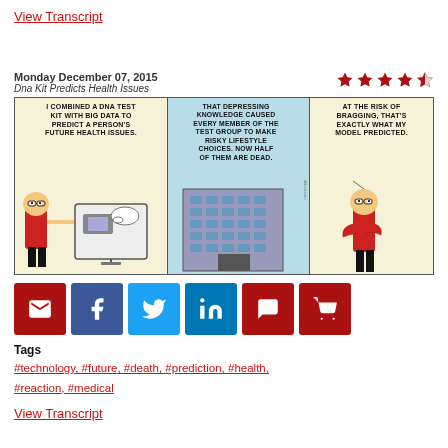View Transcript
Monday December 07, 2015
Dna Kit Predicts Health Issues
[Figure (illustration): Dilbert comic strip in three panels. Panel 1 (yellow background): Dilbert character in red shirt holds up a screen showing a computer, text reads 'I COMBINED A DNA TEST KIT WITH BIG DATA TO PREDICT A PERSON'S FUTURE HEALTH ISSUES.' Panel 2 (blue background): Shows a tall building, text reads 'THAT DEPRESSING KNOWLEDGE CAUSED EVERY MEMBER OF THE TEST GROUP TO MAKE RISKY LIFESTYLE CHOICES. NOW HALF OF THEM ARE DEAD.' Panel 3 (yellow background): Dilbert character in red shirt, text reads 'AT THE RISK OF BRAGGING, THAT'S EXACTLY WHAT MY MODEL PREDICTED.']
[Figure (infographic): Row of social media sharing buttons: email (dark red), Facebook (blue), Twitter (light blue), LinkedIn (blue), comment (dark red), shopping cart (dark red)]
Tags
#technology, #future, #death, #prediction, #health, #reaction, #medical
View Transcript